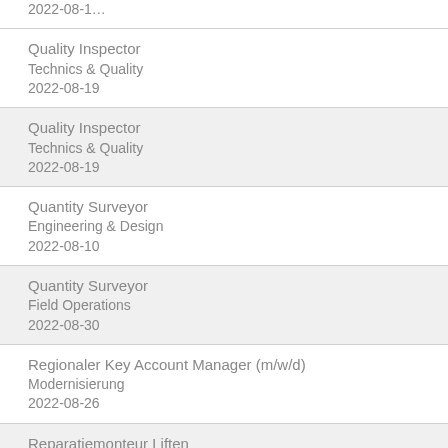Quality Inspector
Technics & Quality
2022-08-19
Quality Inspector
Technics & Quality
2022-08-19
Quantity Surveyor
Engineering & Design
2022-08-10
Quantity Surveyor
Field Operations
2022-08-30
Regionaler Key Account Manager (m/w/d)
Modernisierung
2022-08-26
Reparatiemonteur Liften
Maintenance Services